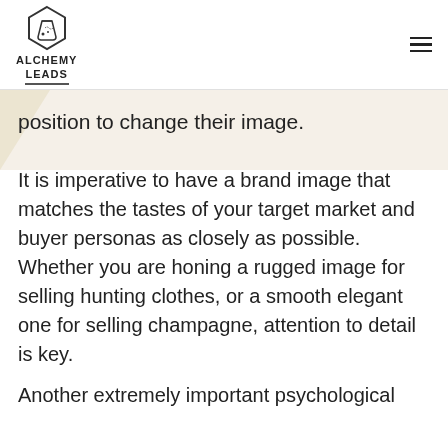ALCHEMY LEADS
position to change their image.
It is imperative to have a brand image that matches the tastes of your target market and buyer personas as closely as possible. Whether you are honing a rugged image for selling hunting clothes, or a smooth elegant one for selling champagne, attention to detail is key.
Another extremely important psychological